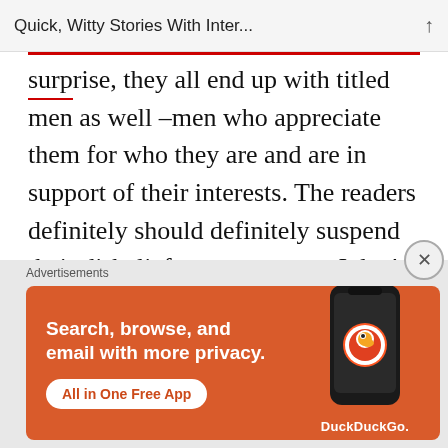Quick, Witty Stories With Inter...
surprise,  they all end up with titled men as well –men who appreciate them for who they are and are in support of their interests. The readers definitely should definitely suspend their disbelief to an extent — I don't think men of their ilk actually lived in that era. Keeping this fact aside,  it's otherwise an interestingly-told series of stories of unique individuals.
[Figure (screenshot): DuckDuckGo advertisement banner with orange background showing 'Search, browse, and email with more privacy. All in One Free App' with DuckDuckGo logo and phone image.]